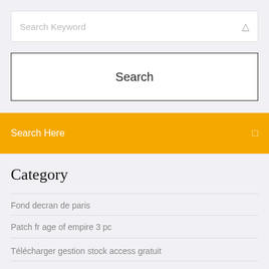Search Keyword
Search
Search Here
Category
Fond decran de paris
Patch fr age of empire 3 pc
Télécharger gestion stock access gratuit